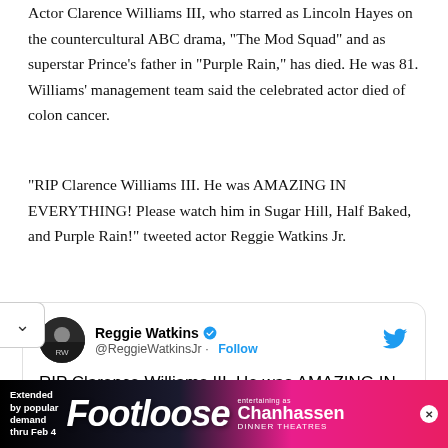Actor Clarence Williams III, who starred as Lincoln Hayes on the countercultural ABC drama, “The Mod Squad” and as superstar Prince’s father in “Purple Rain,” has died. He was 81. Williams’ management team said the celebrated actor died of colon cancer.
“RIP Clarence Williams III. He was AMAZING IN EVERYTHING! Please watch him in Sugar Hill, Half Baked, and Purple Rain!” tweeted actor Reggie Watkins Jr.
[Figure (screenshot): Embedded tweet from @ReggieWatkinsJr: 'RIP Clarence Williams III. He was AMAZING IN EVERYTHING! Please watch him in Sugar Hill, Half Baked, and Purple Rain! 👌' with Follow button and Twitter bird icon.]
[Figure (infographic): Advertisement banner for Footloose at Chanhassen Dinner Theatres, extended by popular demand thru Feb 4.]